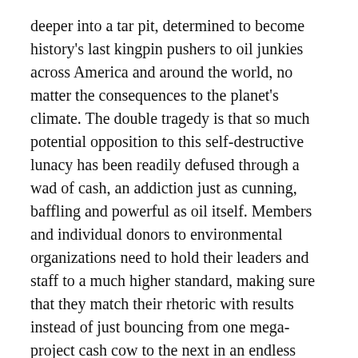deeper into a tar pit, determined to become history's last kingpin pushers to oil junkies across America and around the world, no matter the consequences to the planet's climate. The double tragedy is that so much potential opposition to this self-destructive lunacy has been readily defused through a wad of cash, an addiction just as cunning, baffling and powerful as oil itself. Members and individual donors to environmental organizations need to hold their leaders and staff to a much higher standard, making sure that they match their rhetoric with results instead of just bouncing from one mega-project cash cow to the next in an endless hustle to line their pockets with lucre.
This article appeared in the July/August 2006 issue of Canadian Dimension (Oil Sucks!).